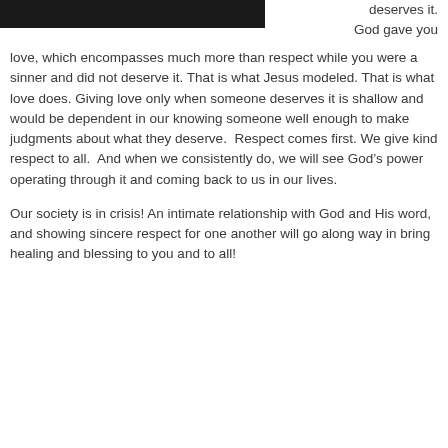[Figure (photo): Dark/black image block at top left of page]
deserves it. God gave you love, which encompasses much more than respect while you were a sinner and did not deserve it. That is what Jesus modeled. That is what love does. Giving love only when someone deserves it is shallow and would be dependent in our knowing someone well enough to make judgments about what they deserve. Respect comes first. We give kind respect to all. And when we consistently do, we will see God's power operating through it and coming back to us in our lives.
Our society is in crisis! An intimate relationship with God and His word, and showing sincere respect for one another will go along way in bring healing and blessing to you and to all!